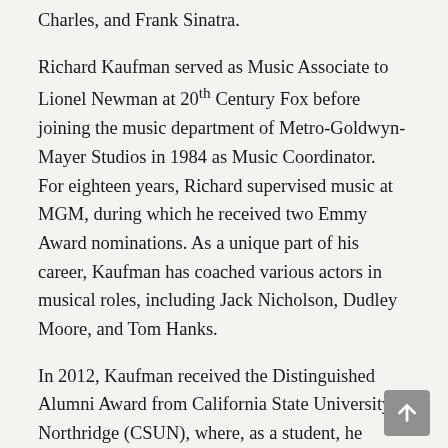Charles, and Frank Sinatra.
Richard Kaufman served as Music Associate to Lionel Newman at 20th Century Fox before joining the music department of Metro-Goldwyn-Mayer Studios in 1984 as Music Coordinator. For eighteen years, Richard supervised music at MGM, during which he received two Emmy Award nominations. As a unique part of his career, Kaufman has coached various actors in musical roles, including Jack Nicholson, Dudley Moore, and Tom Hanks.
In 2012, Kaufman received the Distinguished Alumni Award from California State University– Northridge (CSUN), where, as a student, he composed the University's Alma Mater and Fight song. He is a member of the Music Advisory Board of the Young Musicians Foundation.
Born in Los Angeles, Richard Kaufman began violin studies